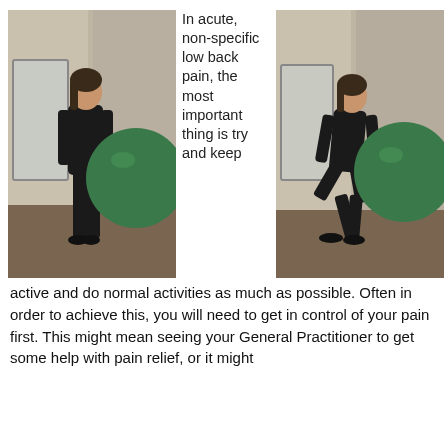[Figure (photo): Woman standing upright against a wall with a large green exercise ball behind her back, in a gym setting with brick walls]
In acute, non-specific low back pain, the most important thing is try and keep
[Figure (photo): Woman in a squat position against a wall with a large green exercise ball behind her back, in a gym setting]
active and do normal activities as much as possible. Often in order to achieve this, you will need to get in control of your pain first. This might mean seeing your General Practitioner to get some help with pain relief, or it might